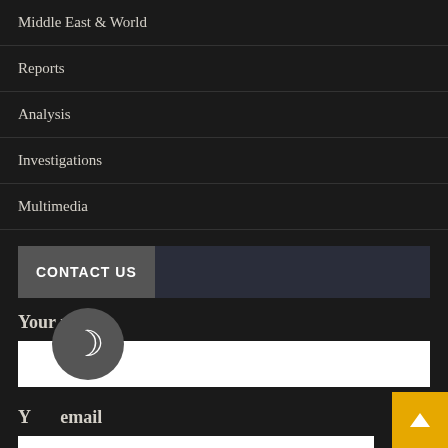Middle East & World
Reports
Analysis
Investigations
Multimedia
CONTACT US
Your name
Your email